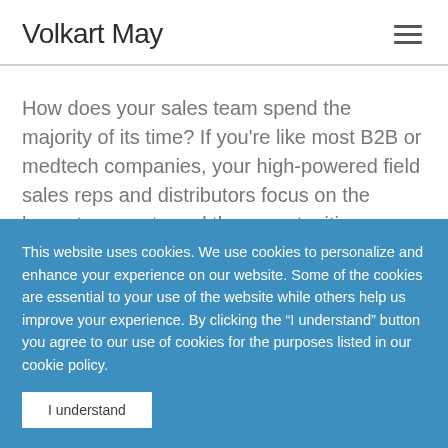Volkart May
How does your sales team spend the majority of its time? If you’re like most B2B or medtech companies, your high-powered field sales reps and distributors focus on the largest accounts and the opportunities closest to converting.
This website uses cookies. We use cookies to personalize and enhance your experience on our website. Some of the cookies are essential to your use of the website while others help us improve your experience. By clicking the “I understand” button you agree to our use of cookies for the purposes listed in our cookie policy.
I understand